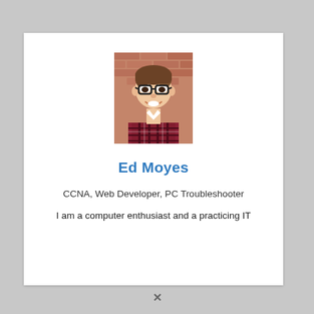[Figure (photo): Profile photo of a young man with glasses and a plaid shirt, smiling, against a brick wall background]
Ed Moyes
CCNA, Web Developer, PC Troubleshooter
I am a computer enthusiast and a practicing IT